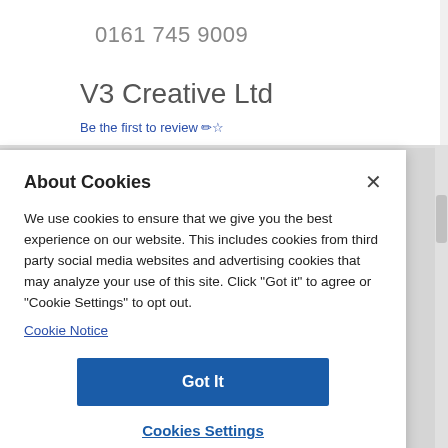0161 745 9009
V3 Creative Ltd
Be the first to review ✏☆
About Cookies
We use cookies to ensure that we give you the best experience on our website. This includes cookies from third party social media websites and advertising cookies that may analyze your use of this site. Click "Got it" to agree or "Cookie Settings" to opt out.
Cookie Notice
Got It
Cookies Settings